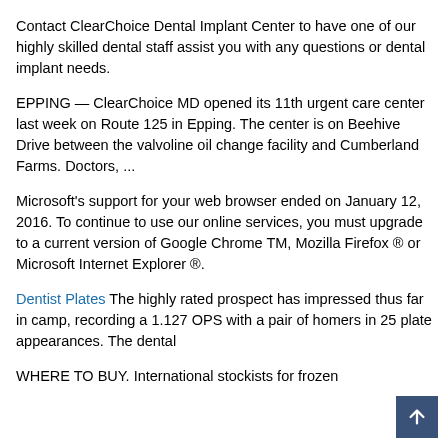Contact ClearChoice Dental Implant Center to have one of our highly skilled dental staff assist you with any questions or dental implant needs.
EPPING — ClearChoice MD opened its 11th urgent care center last week on Route 125 in Epping. The center is on Beehive Drive between the valvoline oil change facility and Cumberland Farms. Doctors, ...
Microsoft's support for your web browser ended on January 12, 2016. To continue to use our online services, you must upgrade to a current version of Google Chrome TM, Mozilla Firefox ® or Microsoft Internet Explorer ®.
Dentist Plates The highly rated prospect has impressed thus far in camp, recording a 1.127 OPS with a pair of homers in 25 plate appearances. The dental
WHERE TO BUY. International stockists for frozen